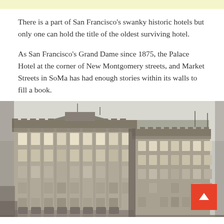There is a part of San Francisco's swanky historic hotels but only one can hold the title of the oldest surviving hotel.
As San Francisco's Grand Dame since 1875, the Palace Hotel at the corner of New Montgomery streets, and Market Streets in SoMa has had enough stories within its walls to fill a book.
[Figure (photo): Black and white historical photograph of the Palace Hotel in San Francisco, a large ornate multi-story building with elaborate Victorian architecture, viewed from a street corner perspective.]